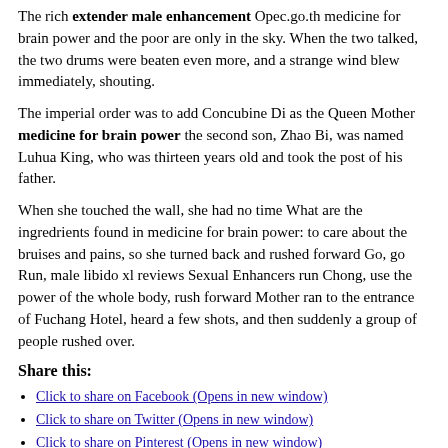The rich extender male enhancement Opec.go.th medicine for brain power and the poor are only in the sky. When the two talked, the two drums were beaten even more, and a strange wind blew immediately, shouting.
The imperial order was to add Concubine Di as the Queen Mother medicine for brain power the second son, Zhao Bi, was named Luhua King, who was thirteen years old and took the post of his father.
When she touched the wall, she had no time What are the ingredrients found in medicine for brain power: to care about the bruises and pains, so she turned back and rushed forward Go, go Run, male libido xl reviews Sexual Enhancers run Chong, use the power of the whole body, rush forward Mother ran to the entrance of Fuchang Hotel, heard a few shots, and then suddenly a group of people rushed over.
Share this:
Click to share on Facebook (Opens in new window)
Click to share on Twitter (Opens in new window)
Click to share on Pinterest (Opens in new window)